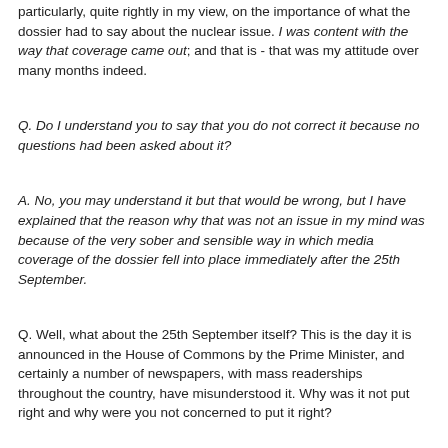particularly, quite rightly in my view, on the importance of what the dossier had to say about the nuclear issue. I was content with the way that coverage came out; and that is - that was my attitude over many months indeed.
Q. Do I understand you to say that you do not correct it because no questions had been asked about it?
A. No, you may understand it but that would be wrong, but I have explained that the reason why that was not an issue in my mind was because of the very sober and sensible way in which media coverage of the dossier fell into place immediately after the 25th September.
Q. Well, what about the 25th September itself? This is the day it is announced in the House of Commons by the Prime Minister, and certainly a number of newspapers, with mass readerships throughout the country, have misunderstood it. Why was it not put right and why were you not concerned to put it right?